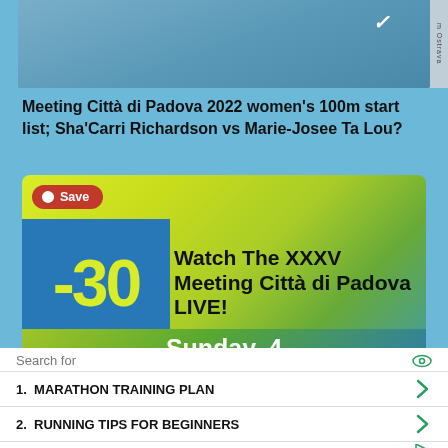[Figure (photo): Top portion of an athlete in blue athletic wear with Nike logo, partial view cropped at waist level, with 'Ostrava' text on right side]
Meeting Città di Padova 2022 women's 100m start list; Sha'Carri Richardson vs Marie-Josee Ta Lou?
[Figure (infographic): Promotional banner for XXXV Meeting Città di Padova LIVE with countdown -30 days, yellow-green gradient background with blue block, Pinterest Save button, text: Watch The XXXV Meeting Città di Padova LIVE! Sunday, 4 September 2022]
1.  MARATHON TRAINING PLAN
2.  RUNNING TIPS FOR BEGINNERS